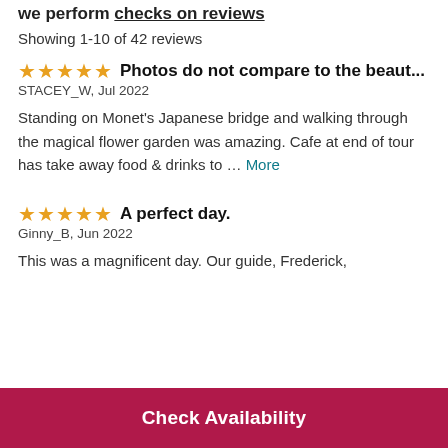we perform checks on reviews
Showing 1-10 of 42 reviews
Photos do not compare to the beaut...
STACEY_W, Jul 2022
Standing on Monet's Japanese bridge and walking through the magical flower garden was amazing. Cafe at end of tour has take away food & drinks to … More
A perfect day.
Ginny_B, Jun 2022
This was a magnificent day. Our guide, Frederick,
Check Availability